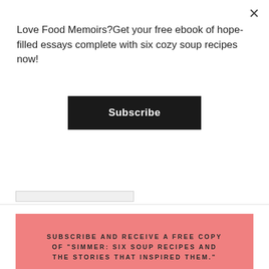Love Food Memoirs?Get your free ebook of hope-filled essays complete with six cozy soup recipes now!
Subscribe
SUBSCRIBE AND RECEIVE A FREE COPY OF "SIMMER: SIX SOUP RECIPES AND THE STORIES THAT INSPIRED THEM."
First Name
Last Name
E-Mail Address